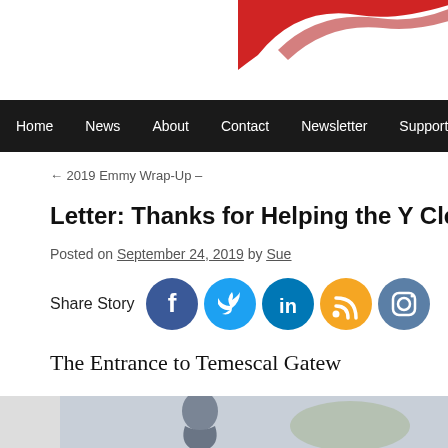[Figure (illustration): Red brush stroke in top-right corner of website header]
Home | News | About | Contact | Newsletter | Support by Dona...
← 2019 Emmy Wrap-Up –
Letter: Thanks for Helping the Y Cleanup
Posted on September 24, 2019 by Sue
Share Story [Facebook] [Twitter] [LinkedIn] [RSS] [Instagram]
The Entrance to Temescal Gatew...
[Figure (photo): Person bending down, appears to be cleaning or picking up something outdoors]